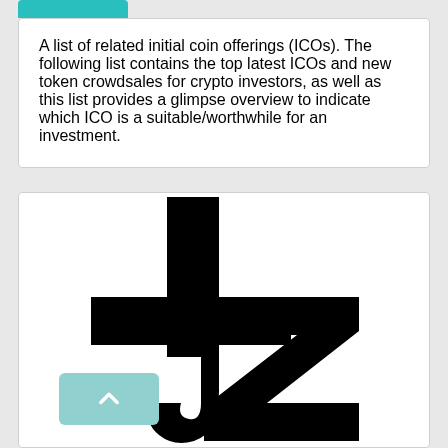A list of related initial coin offerings (ICOs). The following list contains the top latest ICOs and new token crowdsales for crypto investors, as well as this list provides a glimpse overview to indicate which ICO is a suitable/worthwhile for an investment.
[Figure (logo): Tezos (XTZ) cryptocurrency logo — a large black stylized 'tz' symbol on white background]